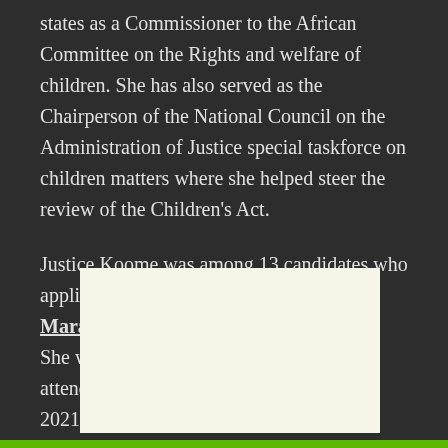states as a Commissioner to the African Committee on the Rights and welfare of children. She has also served as the Chairperson of the National Council on the Administration of Justice special taskforce on children matters where she helped steer the review of the Children's Act.
Justice Koome was among 13 candidates who applied for appointment to replace David Maraga when he retired in January 2021. She was shortlisted for the position, and attended her public interview on April 14, 2021.
[Figure (other): A light cream/off-white colored rectangular image placeholder area]